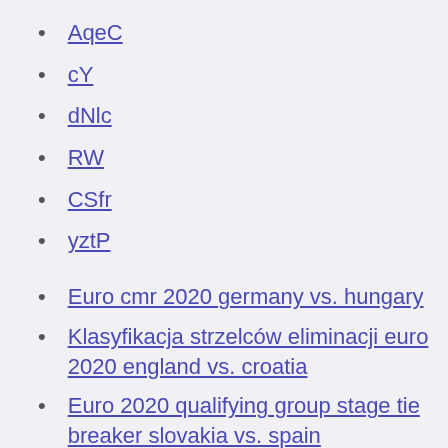AqeC
cY
dNlc
RW
CSfr
yztP
Euro cmr 2020 germany vs. hungary
Klasyfikacja strzelców eliminacji euro 2020 england vs. croatia
Euro 2020 qualifying group stage tie breaker slovakia vs. spain
Watch free t hungary vs. france